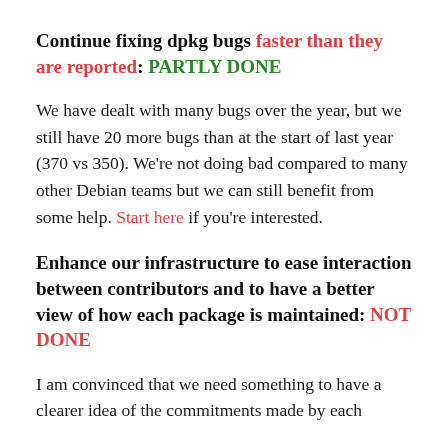Continue fixing dpkg bugs faster than they are reported: PARTLY DONE
We have dealt with many bugs over the year, but we still have 20 more bugs than at the start of last year (370 vs 350). We're not doing bad compared to many other Debian teams but we can still benefit from some help. Start here if you're interested.
Enhance our infrastructure to ease interaction between contributors and to have a better view of how each package is maintained: NOT DONE
I am convinced that we need something to have a clearer idea of the commitments made by each contributor and the current state of each package.